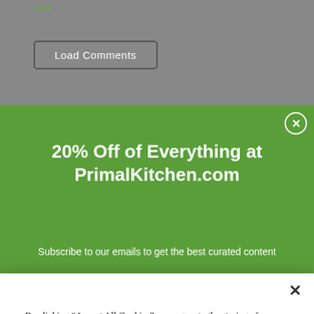here.
Load Comments
[Figure (screenshot): Green promotional banner for PrimalKitchen.com offering 20% off everything, with text '20% Off of Everything at PrimalKitchen.com' and subtitle 'Subscribe to our emails to get the best curated content']
By clicking “Accept All Cookies”, you agree to the storing of cookies on your device to enhance site navigation, analyze site usage, and assist in our marketing efforts.
Accept All Cookies
Cookies Settings
PrimalBlueprint   MDA Facebook